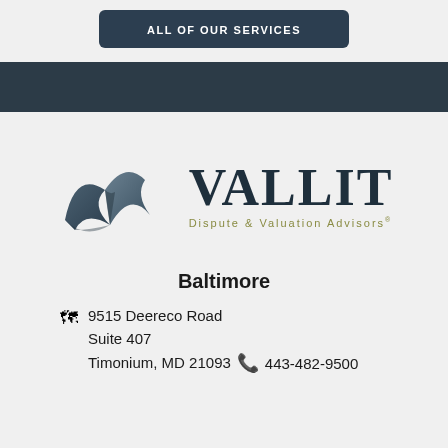[Figure (logo): Dark rounded rectangle button with white uppercase text: ALL OF OUR SERVICES]
[Figure (logo): Vallit Dispute & Valuation Advisors logo with wave/chevron icon in dark teal and serif wordmark VALLIT with olive tagline]
Baltimore
9515 Deereco Road
Suite 407
Timonium, MD 21093    443-482-9500